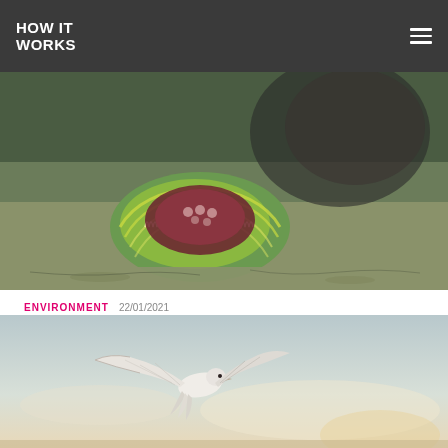HOW IT WORKS
[Figure (photo): Close-up of a marine snail or clam with green and yellow shell partially open revealing tentacles or organ, resting on sandy ocean floor]
ENVIRONMENT  22/01/2021
5 amazing animals that learnt how to use tools
Chimps can adapt twigs to fish termites from their nests and absorb water to drink from narrow holes in trees. They also use rocks as weapons and to hammer open nuts. Some have even been seen crafting spears.
[Figure (photo): Bird in flight against a light sky background, wings spread wide, photographed from below]